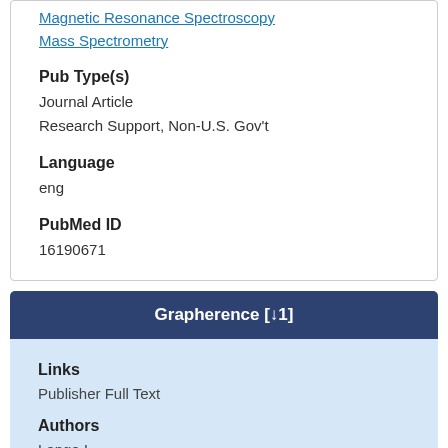Magnetic Resonance Spectroscopy
Mass Spectrometry
Pub Type(s)
Journal Article
Research Support, Non-U.S. Gov't
Language
eng
PubMed ID
16190671
Grapherence [↓1]
Links
Publisher Full Text
Authors
Longo L
Vasapollo G
MESH